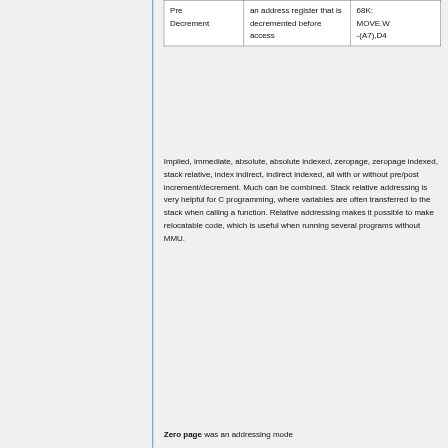| Pre Decrement | an address register that is decremented before access | 68K: MOVE.W -(A7),D4 |
Implied, immediate, absolute, absolute indexed, zeropage, zeropage indexed, stack relative, index indirect, indirect indexed, all with or without pre/post increment/decrement. Much can be combined. Stack relative addressing is very helpful for C programming, where variables are often transferred to the stack when calling a function. Relative addressing makes it possible to make relocatable code, which is useful when running several programs without MMU.
Zero page was an addressing mode